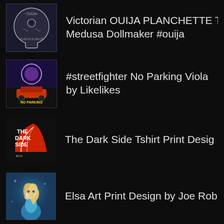Victorian OUIJA PLANCHETTE T... Medusa Dollmaker #ouija
#streetfighter No Parking Viola... by Likelikes
The Dark Side Tshirt Print Desig...
Elsa Art Print Design by Joe Rob...